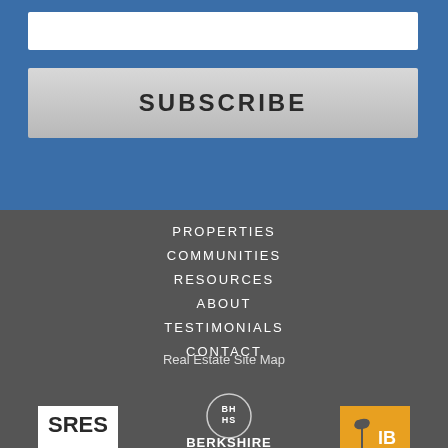[Figure (other): White input field box for email subscription form on blue background]
SUBSCRIBE
PROPERTIES
COMMUNITIES
RESOURCES
ABOUT
TESTIMONIALS
CONTACT
Real Estate Site Map
[Figure (logo): SRES - Seniors Real Estate Specialist logo]
[Figure (logo): Berkshire Hathaway HomeServices BHHS circular logo with text below]
[Figure (logo): Right side real estate logo with palm tree icon and IB letters]